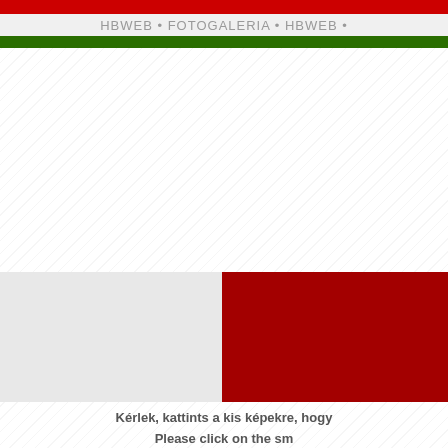HBWEB • FOTOGALERIA • HBWEB •
[Figure (photo): Two thumbnail images side by side: left is light gray placeholder, right is dark red placeholder]
Kérlek, kattints a kis képekre, hogy
Please click on the sm
rdox185-409hegyesh1201    rdox185-409h